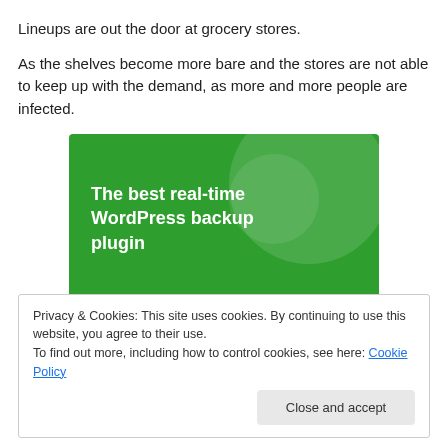Lineups are out the door at grocery stores.
As the shelves become more bare and the stores are not able to keep up with the demand, as more and more people are infected.
[Figure (illustration): Green banner image with text: The best real-time WordPress backup plugin]
Privacy & Cookies: This site uses cookies. By continuing to use this website, you agree to their use.
To find out more, including how to control cookies, see here: Cookie Policy